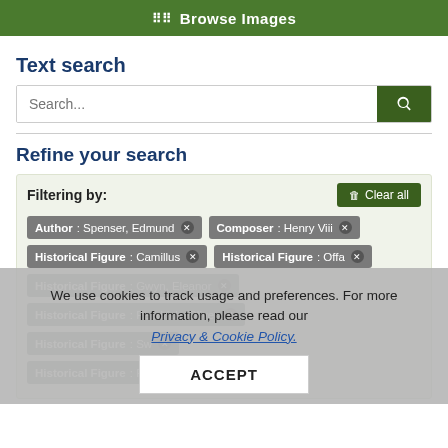⠿ Browse Images
Text search
[Figure (screenshot): Search input field with placeholder text 'Search...' and a dark green search button with magnifying glass icon]
Refine your search
Filtering by:
Author: Spenser, Edmund ✕
Composer: Henry Viii ✕
Historical Figure: Camillus ✕
Historical Figure: Offa ✕
Historical Figure: Gwyn, Eleanor ✕
Historical Figure: Pendrich, Oliver ✕
Historical Figure: Sw... ✕
Historical Figure: Fletcher, John ✕
We use cookies to track usage and preferences. For more information, please read our Privacy & Cookie Policy.
ACCEPT